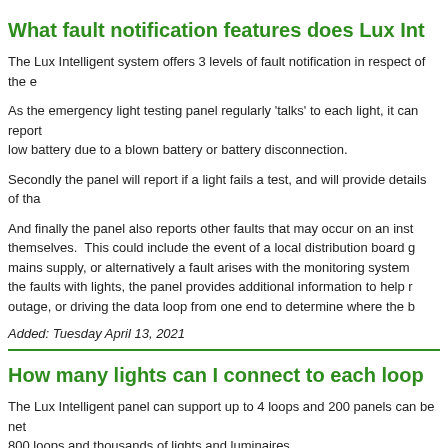What fault notification features does Lux Int...
The Lux Intelligent system offers 3 levels of fault notification in respect of the e...
As the emergency light testing panel regularly 'talks' to each light, it can report... low battery due to a blown battery or battery disconnection.
Secondly the panel will report if a light fails a test, and will provide details of tha...
And finally the panel also reports other faults that may occur on an inst... themselves. This could include the event of a local distribution board g... mains supply, or alternatively a fault arises with the monitoring system... the faults with lights, the panel provides additional information to help r... outage, or driving the data loop from one end to determine where the b...
Added: Tuesday April 13, 2021
How many lights can I connect to each loop...
The Lux Intelligent panel can support up to 4 loops and 200 panels can be net... 800 loops and thousands of lights and luminaires.
Each loop is capable of communicating with 249 addresses on a single loop. T...
The number of devices on a loop is limited by the choice of data cable used, a...